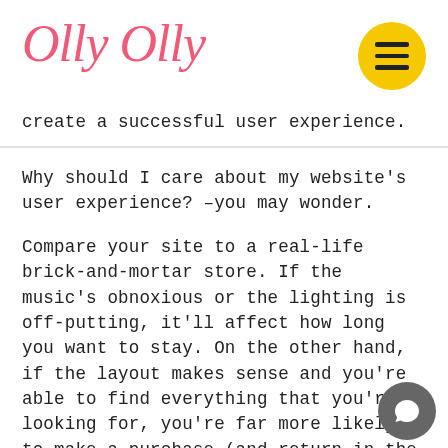Olly Olly
create a successful user experience.
Why should I care about my website's user experience? –you may wonder.
Compare your site to a real-life brick-and-mortar store. If the music's obnoxious or the lighting is off-putting, it'll affect how long you want to stay. On the other hand, if the layout makes sense and you're able to find everything that you're looking for, you're far more likely to make a purchase (and return in the future).
3. Local SEO Builds Brand Authority and Trust